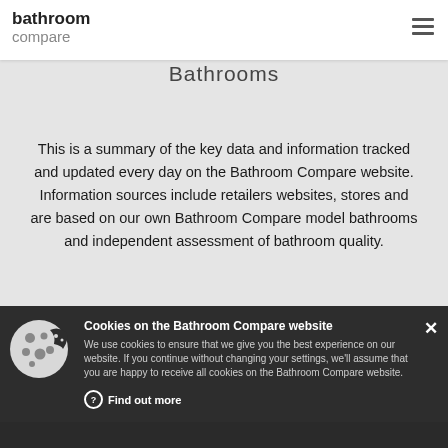bathroom compare
Bathrooms
This is a summary of the key data and information tracked and updated every day on the Bathroom Compare website. Information sources include retailers websites, stores and are based on our own Bathroom Compare model bathrooms and independent assessment of bathroom quality.
Cookies on the Bathroom Compare website
We use cookies to ensure that we give you the best experience on our website. If you continue without changing your settings, we'll assume that you are happy to receive all cookies on the Bathroom Compare website.
Find out more